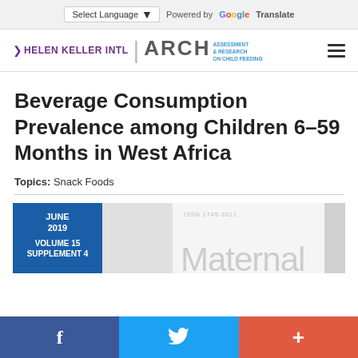Select Language  Powered by Google Translate
[Figure (logo): Helen Keller INTL | ARCH Assessment & Research on Child Feeding logo with hamburger menu]
Beverage Consumption Prevalence among Children 6–59 Months in West Africa
Topics: Snack Foods
[Figure (screenshot): Journal cover preview showing JUNE 2019, VOLUME 15 SUPPLEMENT 4, and partial text 'Maternal' in light gray]
f  (twitter bird)  +